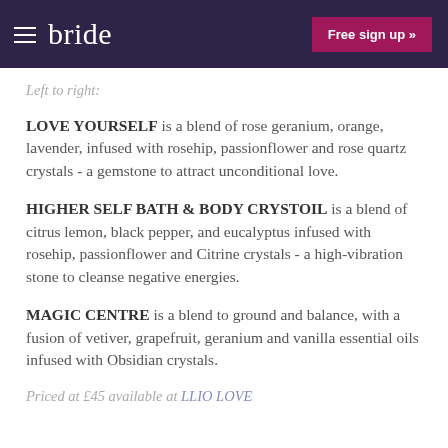bride | Free sign up »
Left to right:
LOVE YOURSELF is a blend of rose geranium, orange, lavender, infused with rosehip, passionflower and rose quartz crystals - a gemstone to attract unconditional love.
HIGHER SELF BATH & BODY CRYSTOIL is a blend of citrus lemon, black pepper, and eucalyptus infused with rosehip, passionflower and Citrine crystals - a high-vibration stone to cleanse negative energies.
MAGIC CENTRE is a blend to ground and balance, with a fusion of vetiver, grapefruit, geranium and vanilla essential oils infused with Obsidian crystals.
Priced at £45 available at LLIO LOVE